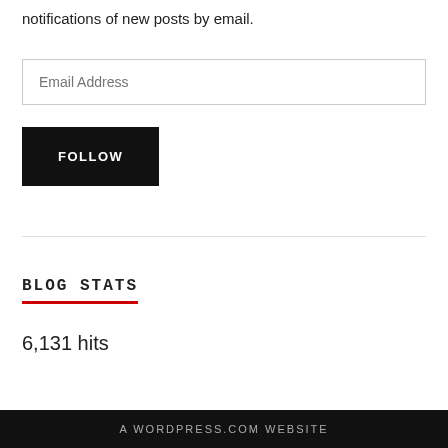notifications of new posts by email.
Email Address
FOLLOW
BLOG STATS
6,131 hits
A WORDPRESS.COM WEBSITE